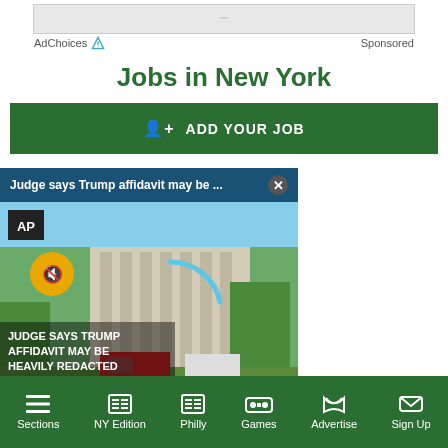[Figure (screenshot): Ad banner placeholder at top of page]
AdChoices  Sponsored
Jobs in New York
+ ADD YOUR JOB
[Figure (screenshot): News video overlay: 'Judge says Trump affidavit may be ...' with close button, AP logo, mute icon, and courthouse building photo with text JUDGE SAYS TRUMP AFFIDAVIT MAY BE HEAVILY REDACTED]
Sections  NY Edition  Philly  Games  Advertise  Sign Up